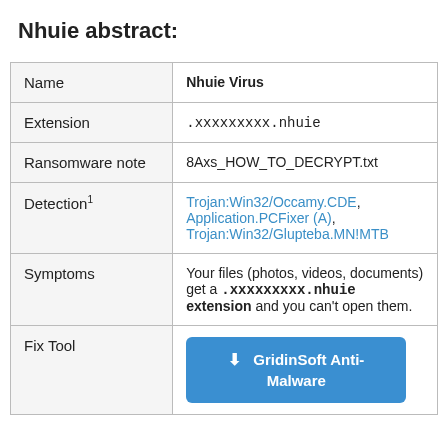Nhuie abstract:
|  |  |
| --- | --- |
| Name | Nhuie Virus |
| Extension | .xxxxxxxxx.nhuie |
| Ransomware note | 8Axs_HOW_TO_DECRYPT.txt |
| Detection¹ | Trojan:Win32/Occamy.CDE, Application.PCFixer (A), Trojan:Win32/Glupteba.MN!MTB |
| Symptoms | Your files (photos, videos, documents) get a .xxxxxxxxx.nhuie extension and you can't open them. |
| Fix Tool | GridinSoft Anti-Malware |